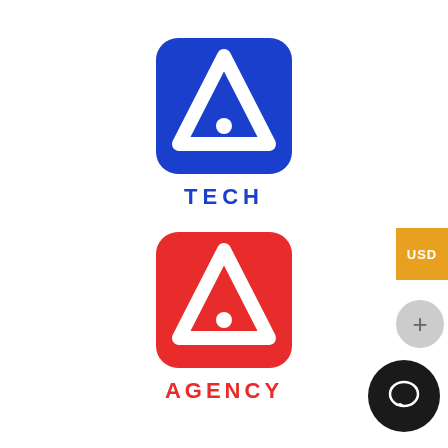[Figure (logo): Blue rounded square logo with white letter A shape (triangle with a dot inside) and the word TECH in blue bold letters below]
[Figure (logo): Red rounded square logo with white letter A shape (triangle with a dot inside) and the word AGENCY in red bold letters below]
[Figure (other): Orange/amber rectangular button with text USD on the right edge of the page]
[Figure (other): Light gray circular button with a plus sign in the lower right area]
[Figure (other): Dark circular chat/message button in the bottom right corner]